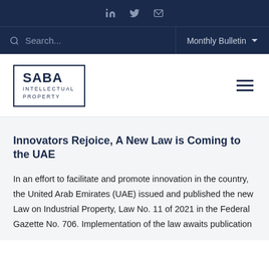LinkedIn | Twitter | Email — Saba Intellectual Property — Search | Monthly Bulletin
[Figure (logo): Saba Intellectual Property logo in a rectangular border with bold SABA text and INTELLECTUAL PROPERTY subtitle]
Innovators Rejoice, A New Law is Coming to the UAE
In an effort to facilitate and promote innovation in the country, the United Arab Emirates (UAE) issued and published the new Law on Industrial Property, Law No. 11 of 2021 in the Federal Gazette No. 706. Implementation of the law awaits publication